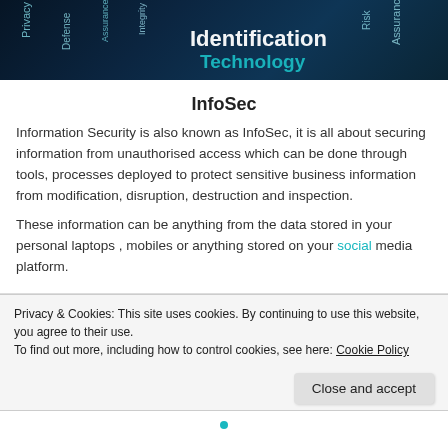[Figure (illustration): Dark blue/navy banner image with cybersecurity-related word cloud text in white and teal, including words like Identification, Technology, Privacy, Defense, Assurance, Risk, Integrity visible at various angles]
InfoSec
Information Security is also known as InfoSec, it is all about securing information from unauthorised access which can be done through tools, processes deployed to protect sensitive business information from modification, disruption, destruction and inspection.
These information can be anything from the data stored in your personal laptops , mobiles or anything stored on your social media platform.
Privacy & Cookies: This site uses cookies. By continuing to use this website, you agree to their use.
To find out more, including how to control cookies, see here: Cookie Policy
Close and accept